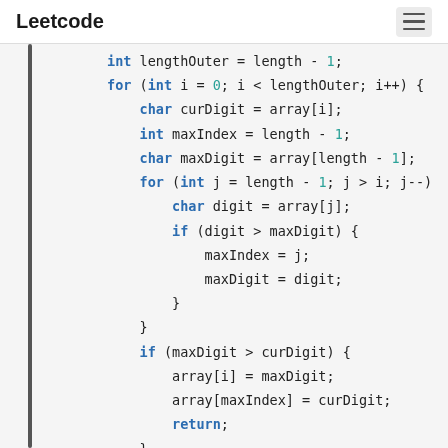Leetcode
Code snippet showing Java/C++ style algorithm with variables: int lengthOuter = length - 1; for loop, char curDigit, int maxIndex, char maxDigit, nested for loop, if conditions, array swaps and return statement.